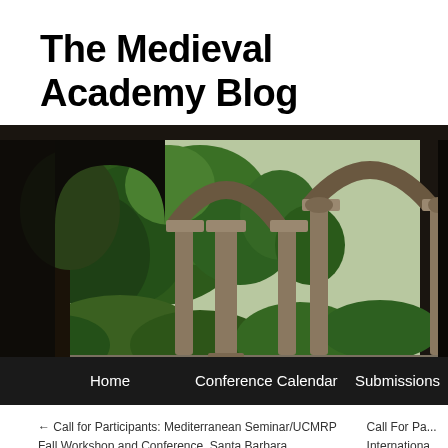The Medieval Academy Blog
[Figure (photo): A photograph of a medieval cloister with stone arched columns and lush green garden foliage, viewed from a shaded arcade. Navigation bar at bottom with items: Home, Conference Calendar, Submissions.]
← Call for Participants: Mediterranean Seminar/UCMRP Fall Workshop and Conference, Santa Barbara
Call For Pa... Internationa...